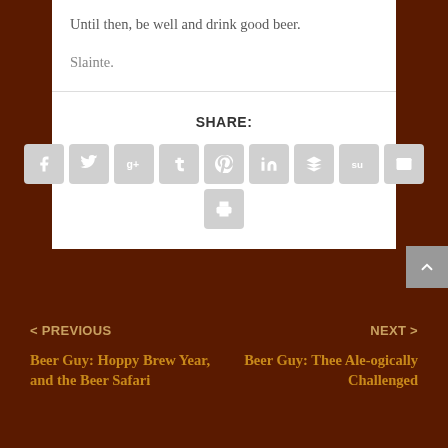Until then, be well and drink good beer.
Slainte.
[Figure (infographic): Social share buttons: Facebook, Twitter, Google+, Tumblr, Pinterest, LinkedIn, Buffer, StumbleUpon, Email, Print]
< PREVIOUS
Beer Guy: Hoppy Brew Year, and the Beer Safari
NEXT >
Beer Guy: Thee Ale-ogically Challenged